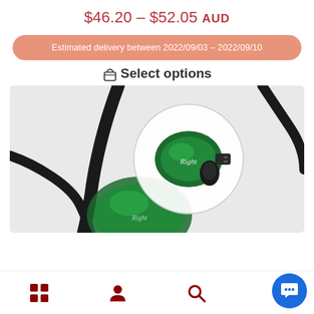$46.20 – $52.05 AUD
Estimated delivery between 2022/09/03 - 2022/09/10
Select options
[Figure (photo): Close-up product photo of green in-ear monitors (earphones) with black cables, showing 'Right' label on the earpiece with a circular detail callout highlighting the earphone body]
Navigation bar with grid, user, search icons and chat button